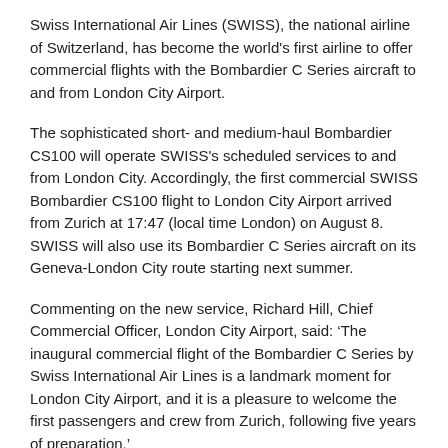Swiss International Air Lines (SWISS), the national airline of Switzerland, has become the world's first airline to offer commercial flights with the Bombardier C Series aircraft to and from London City Airport.
The sophisticated short- and medium-haul Bombardier CS100 will operate SWISS's scheduled services to and from London City. Accordingly, the first commercial SWISS Bombardier CS100 flight to London City Airport arrived from Zurich at 17:47 (local time London) on August 8. SWISS will also use its Bombardier C Series aircraft on its Geneva-London City route starting next summer.
Commenting on the new service, Richard Hill, Chief Commercial Officer, London City Airport, said: ‘The inaugural commercial flight of the Bombardier C Series by Swiss International Air Lines is a landmark moment for London City Airport, and it is a pleasure to welcome the first passengers and crew from Zurich, following five years of preparation.’
‘This next-generation aircraft is one of the quietest in operation, with greater fuel efficiency and longer range, setting a new standard for SWISS operations and London City,’ he added.